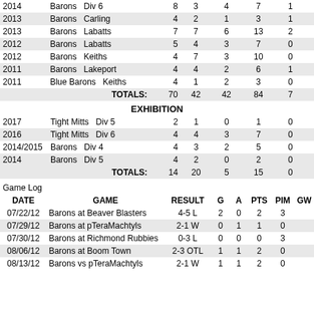| Year | Team | League | GP | G | A | PTS | PIM |
| --- | --- | --- | --- | --- | --- | --- | --- |
| 2014 | Barons | Div 6 | 8 | 3 | 4 | 7 | 1 |
| 2013 | Barons | Carling | 4 | 2 | 1 | 3 | 1 |
| 2013 | Barons | Labatts | 7 | 7 | 6 | 13 | 2 |
| 2012 | Barons | Labatts | 5 | 4 | 3 | 7 | 0 |
| 2012 | Barons | Keiths | 4 | 7 | 3 | 10 | 0 |
| 2011 | Barons | Lakeport | 4 | 4 | 2 | 6 | 1 |
| 2011 | Blue Barons | Keiths | 4 | 1 | 2 | 3 | 0 |
|  | TOTALS: |  | 70 | 42 | 42 | 84 | 7 |
EXHIBITION
| Year | Team | League | GP | G | A | PTS | PIM |
| --- | --- | --- | --- | --- | --- | --- | --- |
| 2017 | Tight Mitts | Div 5 | 2 | 1 | 0 | 1 | 0 |
| 2016 | Tight Mitts | Div 6 | 4 | 4 | 3 | 7 | 0 |
| 2014/2015 | Barons | Div 4 | 4 | 3 | 2 | 5 | 0 |
| 2014 | Barons | Div 5 | 4 | 2 | 0 | 2 | 0 |
|  | TOTALS: |  | 14 | 20 | 5 | 15 | 0 |
Game Log
| DATE | GAME | RESULT | G | A | PTS | PIM | GW |
| --- | --- | --- | --- | --- | --- | --- | --- |
| 07/22/12 | Barons at Beaver Blasters | 4-5 L | 2 | 0 | 2 | 3 |  |
| 07/29/12 | Barons at pTeraMachtyls | 2-1 W | 0 | 1 | 1 | 0 |  |
| 07/30/12 | Barons at Richmond Rubbies | 0-3 L | 0 | 0 | 0 | 3 |  |
| 08/06/12 | Barons at Boom Town | 2-3 OTL | 1 | 1 | 2 | 0 |  |
| 08/13/12 | Barons vs pTeraMachtyls | 2-1 W | 1 | 1 | 2 | 0 |  |